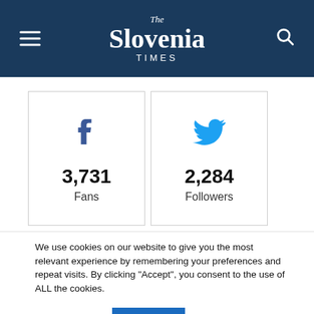The Slovenia Times
[Figure (infographic): Facebook icon with 3,731 Fans count in a bordered card]
[Figure (infographic): Twitter bird icon with 2,284 Followers count in a bordered card]
latest
We use cookies on our website to give you the most relevant experience by remembering your preferences and repeat visits. By clicking “Accept”, you consent to the use of ALL the cookies.
Cookie settings   ACCEPT